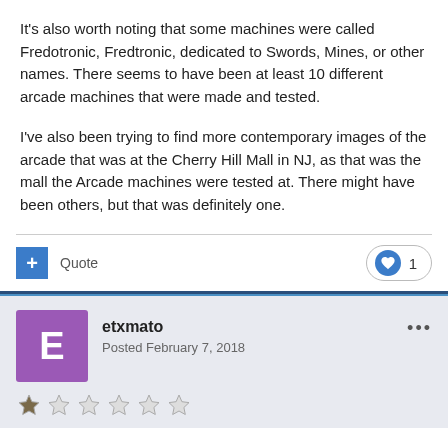It's also worth noting that some machines were called Fredotronic, Fredtronic, dedicated to Swords, Mines, or other names. There seems to have been at least 10 different arcade machines that were made and tested.
I've also been trying to find more contemporary images of the arcade that was at the Cherry Hill Mall in NJ, as that was the mall the Arcade machines were tested at. There might have been others, but that was definitely one.
Quote  ♥ 1
etxmato
Posted February 7, 2018